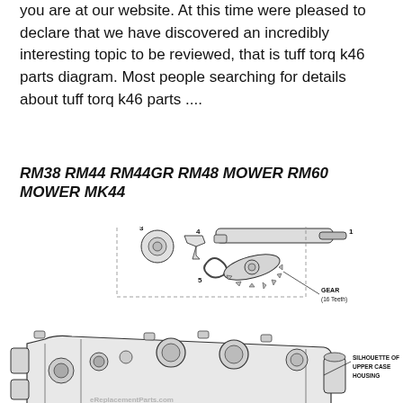you are at our website. At this time were pleased to declare that we have discovered an incredibly interesting topic to be reviewed, that is tuff torq k46 parts diagram. Most people searching for details about tuff torq k46 parts ....
RM38 RM44 RM44GR RM48 MOWER RM60 MOWER MK44
[Figure (engineering-diagram): Exploded parts diagram of a Tuff Torq K46 transaxle assembly showing numbered components including a shaft (1), a gear/bearing assembly (3, 4, 5), a bevel gear labeled 'GEAR (16 Teeth)', and the main case body labeled 'SILHOUETTE OF UPPER CASE HOUSING'. Watermark reads 'eReplacementParts.com'.]